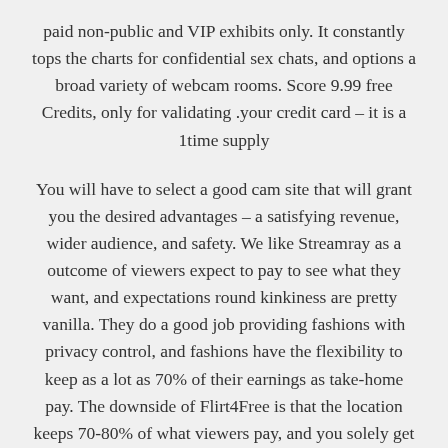paid non-public and VIP exhibits only. It constantly tops the charts for confidential sex chats, and options a broad variety of webcam rooms. Score 9.99 free Credits, only for validating your credit card – it is a 1time supply.
You will have to select a good cam site that will grant you the desired advantages – a satisfying revenue, wider audience, and safety. We like Streamray as a outcome of viewers expect to pay to see what they want, and expectations round kinkiness are pretty vanilla. They do a good job providing fashions with privacy control, and fashions have the flexibility to keep as a lot as 70% of their earnings as take-home pay. The downside of Flirt4Free is that the location keeps 70-80% of what viewers pay, and you solely get 20-30%.